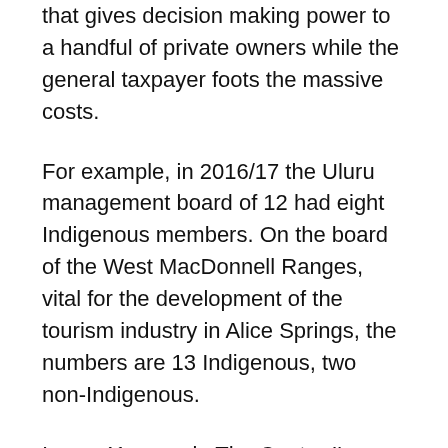that gives decision making power to a handful of private owners while the general taxpayer foots the massive costs.
For example, in 2016/17 the Uluru management board of 12 had eight Indigenous members. On the board of the West MacDonnell Ranges, vital for the development of the tourism industry in Alice Springs, the numbers are 13 Indigenous, two non-Indigenous.
In my 41 years in The Centre I've climbed The Rock perhaps seven times, and been in that national park probably 300 times.
A mate and I climbed it on a stormy night that was so black that we had trouble seeing from one white mark on the ground to the next. We were climbing mostly on our hands and knees. The already fierce wind, accelerated by the half-venturi effect at the top, threatened to blow us into the void.